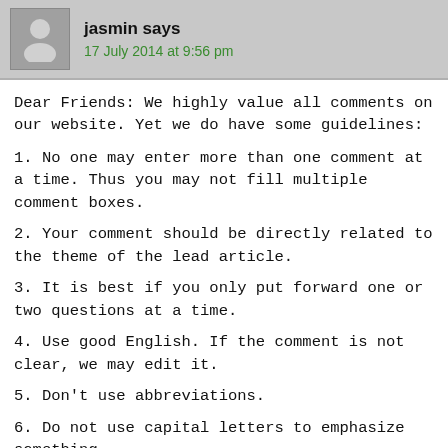jasmin says
17 July 2014 at 9:56 pm
Dear Friends: We highly value all comments on our website. Yet we do have some guidelines:
1. No one may enter more than one comment at a time. Thus you may not fill multiple comment boxes.
2. Your comment should be directly related to the theme of the lead article.
3. It is best if you only put forward one or two questions at a time.
4. Use good English. If the comment is not clear, we may edit it.
5. Don't use abbreviations.
6. Do not use capital letters to emphasize something.
7. Do not include any hyperlinks.
8. Do not copy and paste an article from somewhere else into your comment. We want your own ideas, not someone else's!